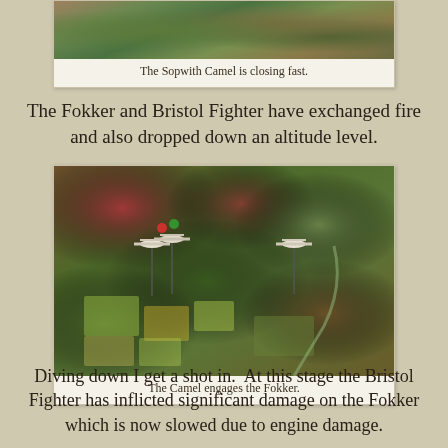[Figure (photo): Top portion of a wargame board showing aerial combat miniatures over a terrain map, partially cropped at top.]
The Sopwith Camel is closing fast.
The Fokker and Bristol Fighter have exchanged fire and also dropped down an altitude level.
[Figure (photo): Wargame board showing three WWI aircraft miniatures on stands over a colorful terrain map with fields and forests. The Camel engages the Fokker.]
The Camel engages the Fokker.
Diving down I get a shot in.  At this stage the Bristol Fighter has inflicted significant damage on the Fokker which is now slowed due to engine damage.